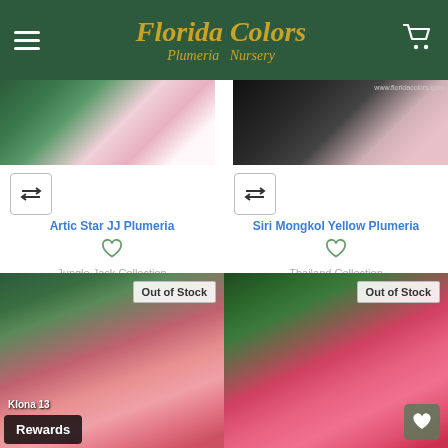Florida Colors Plumeria Nursery
[Figure (photo): Photo of Artic Star JJ Plumeria flower - white and pink petals]
[Figure (photo): Photo of Siri Mongkol Yellow Plumeria flower - dark background]
Artic Star JJ Plumeria
Jungle Jack Collection
Your Price: $75.00
JJ Arctic Star
Notify Me When Available
Siri Mongkol Yellow Plumeria
Thailand Collection
Your Price: $35.00
Siri Mongkol Yellow
Notify Me When Available
Out of Stock
[Figure (photo): Photo of pink plumeria flowers with green leaves - Klona 13]
Klona 13
Rewards
Out of Stock
[Figure (photo): Photo of pink and red plumeria flowers]